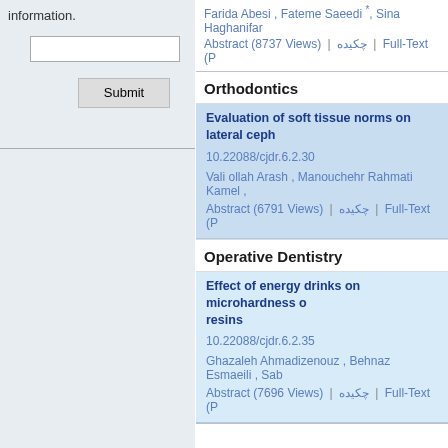information.
Submit
Farida Abesi , Fateme Saeedi , Sina Haghanifar
Abstract (8737 Views) | چکیده | Full-Text (P
Orthodontics
Evaluation of soft tissue norms on lateral ceph
10.22088/cjdr.6.2.30
Vali ollah Arash , Manouchehr Rahmati Kamel ,
Abstract (6791 Views) | چکیده | Full-Text (P
Operative Dentistry
Effect of energy drinks on microhardness o resins
10.22088/cjdr.6.2.35
Ghazaleh Ahmadizenouz , Behnaz Esmaeili , Sab
Abstract (7696 Views) | چکیده | Full-Text (P